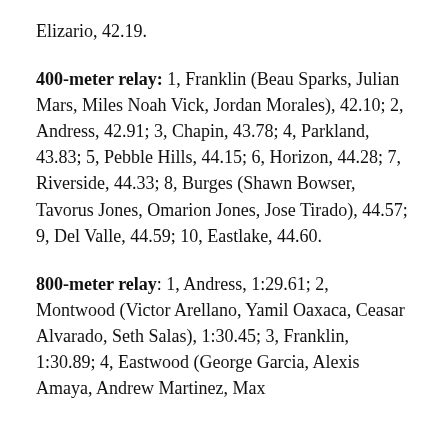Elizario, 42.19.
400-meter relay: 1, Franklin (Beau Sparks, Julian Mars, Miles Noah Vick, Jordan Morales), 42.10; 2, Andress, 42.91; 3, Chapin, 43.78; 4, Parkland, 43.83; 5, Pebble Hills, 44.15; 6, Horizon, 44.28; 7, Riverside, 44.33; 8, Burges (Shawn Bowser, Tavorus Jones, Omarion Jones, Jose Tirado), 44.57; 9, Del Valle, 44.59; 10, Eastlake, 44.60.
800-meter relay: 1, Andress, 1:29.61; 2, Montwood (Victor Arellano, Yamil Oaxaca, Ceasar Alvarado, Seth Salas), 1:30.45; 3, Franklin, 1:30.89; 4, Eastwood (George Garcia, Alexis Amaya, Andrew Martinez, Max